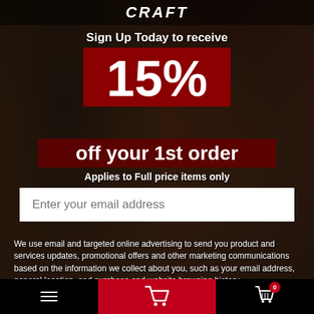CRAFT
Sign Up Today to receive 15% off your 1st order
Applies to Full price items only
Enter your email address
We use email and targeted online advertising to send you product and services updates, promotional offers and other marketing communications based on the information we collect about you, such as your email address, general location, and purchase and website browsing history.
We process your personal data as stated in our Privacy Policy {insert privacy policy link}.  You may withdraw your consent or manage your preferences at any time by clicking the unsubscribe link at the bottom of any of our marketing emails, or by emailing us at
Navigation bar with hamburger menu, cart icon (0), and red cart button